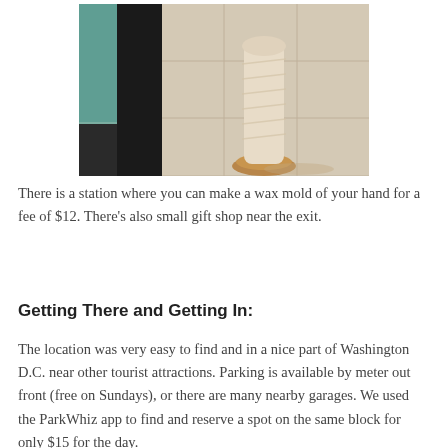[Figure (photo): Photo showing what appears to be a wax mold or wrapped object on a wooden base, photographed from above on a tiled floor, with dark panels visible on the left side.]
There is a station where you can make a wax mold of your hand for a fee of $12. There's also small gift shop near the exit.
Getting There and Getting In:
The location was very easy to find and in a nice part of Washington D.C. near other tourist attractions. Parking is available by meter out front (free on Sundays), or there are many nearby garages. We used the ParkWhiz app to find and reserve a spot on the same block for only $15 for the day.